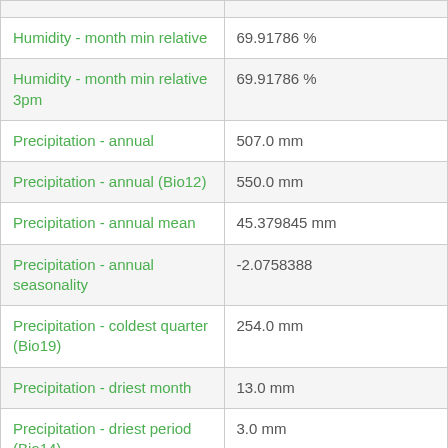|  |  |
| Humidity - month min relative | 69.91786 % |
| Humidity - month min relative 3pm | 69.91786 % |
| Precipitation - annual | 507.0 mm |
| Precipitation - annual (Bio12) | 550.0 mm |
| Precipitation - annual mean | 45.379845 mm |
| Precipitation - annual seasonality | -2.0758388 |
| Precipitation - coldest quarter (Bio19) | 254.0 mm |
| Precipitation - driest month | 13.0 mm |
| Precipitation - driest period (Bio14) | 3.0 mm |
| Precipitation - driest quarter (Bio17) | 50.0 mm |
| Precipitation - equinox | 0.9341211 |